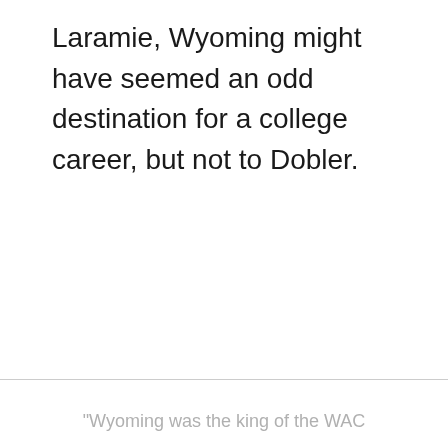Laramie, Wyoming might have seemed an odd destination for a college career, but not to Dobler.
"Wyoming was the king of the WAC